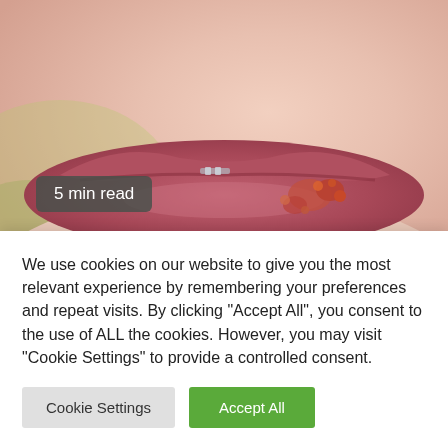[Figure (photo): Close-up photo of a person's lips showing cold sore / herpes lesions on the lower lip area, with a '5 min read' badge overlay]
5 min read
SCIENCE
We use cookies on our website to give you the most relevant experience by remembering your preferences and repeat visits. By clicking "Accept All", you consent to the use of ALL the cookies. However, you may visit "Cookie Settings" to provide a controlled consent.
Cookie Settings
Accept All